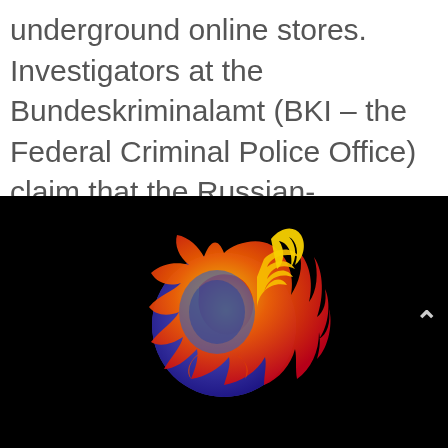underground online stores. Investigators at the Bundeskriminalamt (BKI – the Federal Criminal Police Office) claim that the Russian-language Hydra...
[Figure (logo): Firefox browser logo on black background — a stylized fox (orange, red, yellow gradient) wrapped around a blue and purple globe, with a yellow flame motif. A light grey chevron (^) is visible on the right edge.]